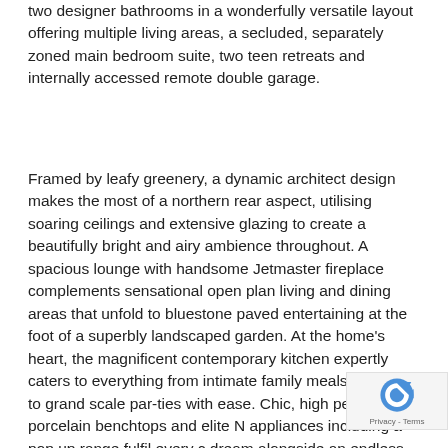two designer bathrooms in a wonderfully versatile layout offering multiple living areas, a secluded, separately zoned main bedroom suite, two teen retreats and internally accessed remote double garage.
Framed by leafy greenery, a dynamic architect design makes the most of a northern rear aspect, utilising soaring ceilings and extensive glazing to create a beautifully bright and airy ambience throughout. A spacious lounge with handsome Jetmaster fireplace complements sensational open plan living and dining areas that unfold to bluestone paved entertaining at the foot of a superbly landscaped garden. At the home's heart, the magnificent contemporary kitchen expertly caters to everything from intimate family meals right up to grand scale par-ties with ease. Chic, high performance porcelain benchtops and elite N appliances including a pop up range fulfil every c dream alongside an endless supply of integrated close cabinetry with kick board vacuum and an